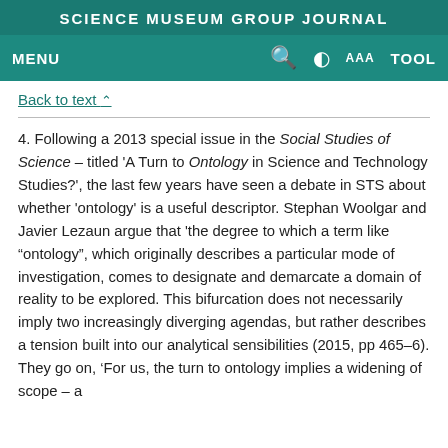SCIENCE MUSEUM GROUP JOURNAL
MENU  [search] [contrast] AAA TOOL
Back to text ^
4. Following a 2013 special issue in the Social Studies of Science – titled 'A Turn to Ontology in Science and Technology Studies?', the last few years have seen a debate in STS about whether 'ontology' is a useful descriptor. Stephan Woolgar and Javier Lezaun argue that 'the degree to which a term like “ontology”, which originally describes a particular mode of investigation, comes to designate and demarcate a domain of reality to be explored. This bifurcation does not necessarily imply two increasingly diverging agendas, but rather describes a tension built into our analytical sensibilities (2015, pp 465–6). They go on, ‘For us, the turn to ontology implies a widening of scope – a